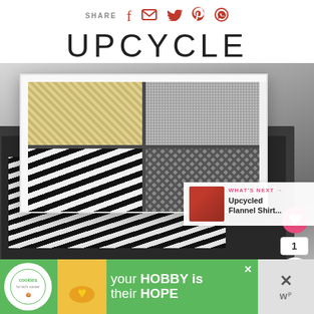SHARE
UPCYCLE
[Figure (photo): Stacked decorative storage trays/drawers with patterned fabric liners. Upper white tray has four sections with different patterns (herringbone, grid, zebra-like, diamond). Lower dark gray tray has black and white zebra print lining. Side panel buttons include heart/like button, count of 1, and share button.]
WHAT'S NEXT → Upcycled Flannel Shirt...
[Figure (infographic): Advertisement banner: 'your HOBBY is their HOPE' with Cookies for Kid's Cancer logo and a partner logo. Green background with white text.]